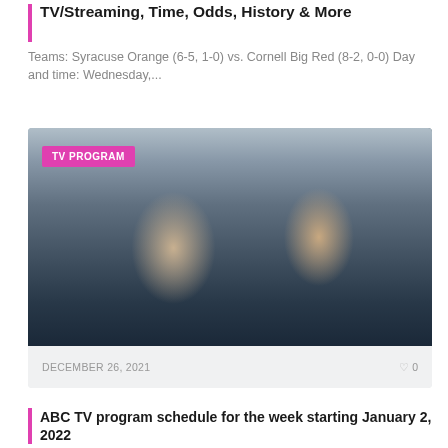TV/Streaming, Time, Odds, History & More
Teams: Syracuse Orange (6-5, 1-0) vs. Cornell Big Red (8-2, 0-0) Day and time: Wednesday,...
[Figure (photo): A man and a woman in period clothing looking alarmed, standing in front of a brick building in foggy conditions. A pink badge reading 'TV PROGRAM' is overlaid in the top-left corner.]
DECEMBER 26, 2021
ABC TV program schedule for the week starting January 2, 2022